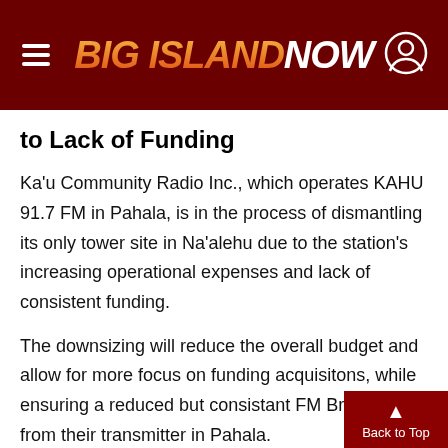Big Island Now
to Lack of Funding
Ka'u Community Radio Inc., which operates KAHU 91.7 FM in Pahala, is in the process of dismantling its only tower site in Na'alehu due to the station's increasing operational expenses and lack of consistent funding.
The downsizing will reduce the overall budget and allow for more focus on funding acquisitons, while ensuring a reduced but consistant FM Broadcast from their transmitter in Pahala.
In a released statement, Christine Kaehuaea, s… general manager of KAHU 91.7 FM, said had s…